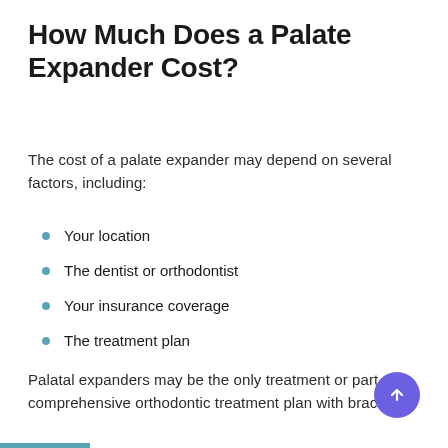How Much Does a Palate Expander Cost?
The cost of a palate expander may depend on several factors, including:
Your location
The dentist or orthodontist
Your insurance coverage
The treatment plan
Palatal expanders may be the only treatment or part of a comprehensive orthodontic treatment plan with braces.